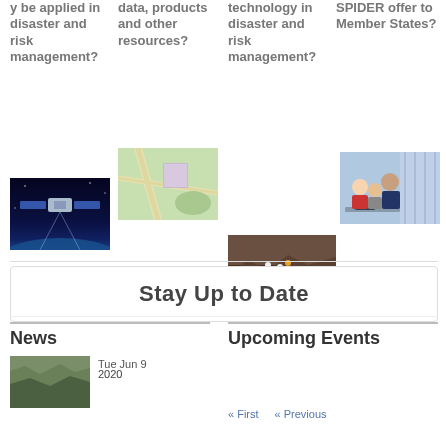[Figure (photo): Satellite in orbit above Earth with solar panels extended, dark space background]
y be applied in disaster and risk management?
[Figure (photo): Aerial map view showing roads and green areas]
data, products and other resources?
[Figure (photo): Disaster scene with rescue workers amid rubble and debris]
technology in disaster and risk management?
[Figure (photo): Group of people working together at computers in a training session]
SPIDER offer to Member States?
Stay Up to Date
News
Upcoming Events
[Figure (photo): Aerial view of landscape, possibly flood or disaster area]
Tue Jun 9
« First
« Previous